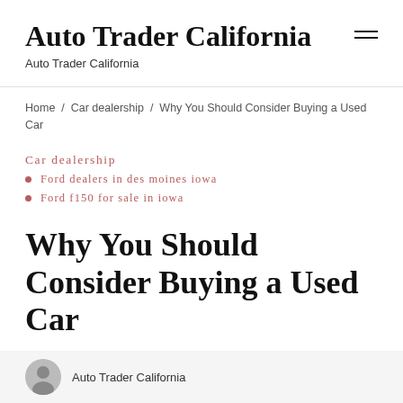Auto Trader California
Auto Trader California
Home / Car dealership / Why You Should Consider Buying a Used Car
Car dealership
Ford dealers in des moines iowa
Ford f150 for sale in iowa
Why You Should Consider Buying a Used Car
Auto Trader California